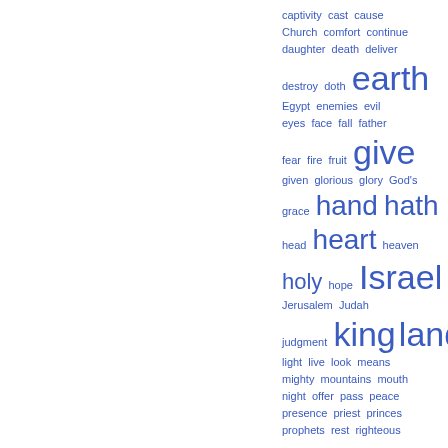[Figure (other): Word cloud / tag cloud displayed in blue text on white background, showing biblical/religious words in varying font sizes indicating frequency. Words include: captivity, cast, cause, Church, comfort, continue, daughter, death, deliver, destroy, doth, earth, Egypt, enemies, evil, eyes, face, fall, father, fear, fire, fruit, give, given, glorious, glory, God's, grace, hand, hath, head, heart, heaven, holy, hope, Israel, Jerusalem, Judah, judgment, king, land, light, live, look, means, mighty, mountains, mouth, night, offer, pass, peace, presence, priest, princes, prophets, rest, righteous]